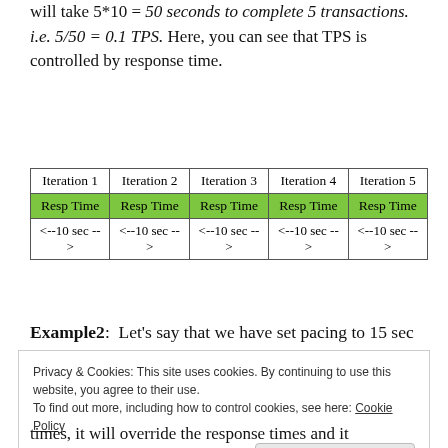will take 5*10 = 50 seconds to complete 5 transactions. i.e. 5/50 = 0.1 TPS. Here, you can see that TPS is controlled by response time.
| Iteration 1 | Iteration 2 | Iteration 3 | Iteration 4 | Iteration 5 |
| --- | --- | --- | --- | --- |
| Resp Time | Resp Time | Resp Time | Resp Time | Resp Time |
| <--10 sec --> | <--10 sec --> | <--10 sec --> | <--10 sec --> | <--10 sec --> |
Example2:  Let's say that we have set pacing to 15 sec and Think Time to zero.
Privacy & Cookies: This site uses cookies. By continuing to use this website, you agree to their use.
To find out more, including how to control cookies, see here: Cookie Policy
times, it will override the response times and it